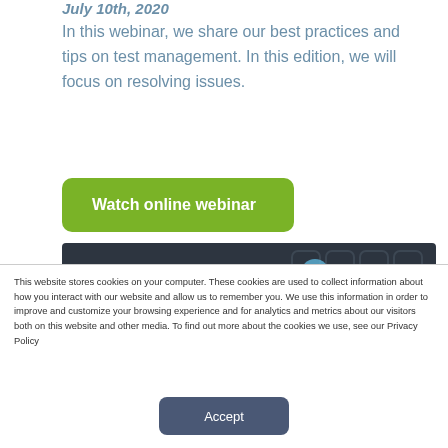July 10th, 2020
In this webinar, we share our best practices and tips on test management. In this edition, we will focus on resolving issues.
Watch online webinar
[Figure (illustration): Dark banner with decorative circles showing partial text 'How to resolve issues?']
This website stores cookies on your computer. These cookies are used to collect information about how you interact with our website and allow us to remember you. We use this information in order to improve and customize your browsing experience and for analytics and metrics about our visitors both on this website and other media. To find out more about the cookies we use, see our Privacy Policy
Accept